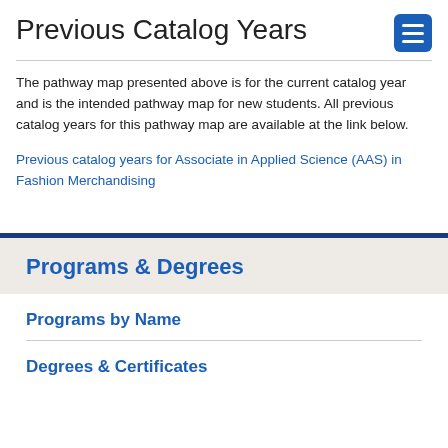Previous Catalog Years
The pathway map presented above is for the current catalog year and is the intended pathway map for new students. All previous catalog years for this pathway map are available at the link below.
Previous catalog years for Associate in Applied Science (AAS) in Fashion Merchandising
Programs & Degrees
Programs by Name
Degrees & Certificates